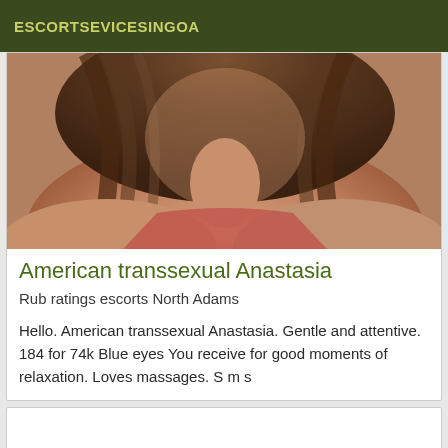ESCORTSEVICESINGOA
[Figure (photo): Close-up photo of a woman with long brown hair]
American transsexual Anastasia
Rub ratings escorts North Adams
Hello. American transsexual Anastasia. Gentle and attentive. 184 for 74k Blue eyes You receive for good moments of relaxation. Loves massages. S m s